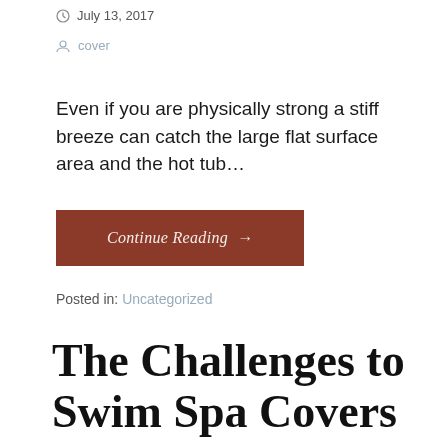July 13, 2017
cover
Even if you are physically strong a stiff breeze can catch the large flat surface area and the hot tub…
Continue Reading →
Posted in: Uncategorized
The Challenges to Swim Spa Covers